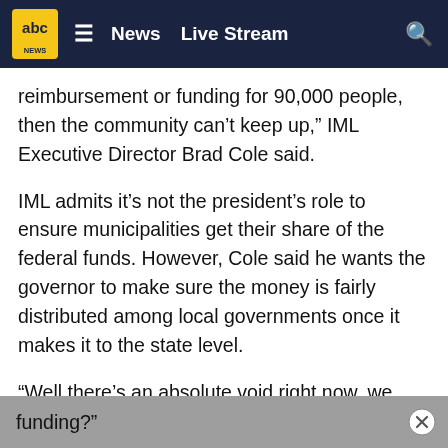abc News   Live Stream
reimbursement or funding for 90,000 people, then the community can’t keep up,” IML Executive Director Brad Cole said.
IML admits it’s not the president’s role to ensure municipalities get their share of the federal funds. However, Cole said he wants the governor to make sure the money is fairly distributed among local governments once it makes it to the state level.
“Well there’s an absolute void right now, we understand and we appreciate that the state needs to receive its funding from the federal government, but we’re talking about after that,” Cole said. “What happens with the local governments - the municipalities - in regards to state funding?”